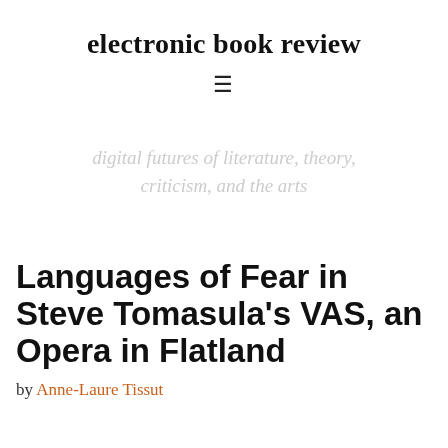electronic book review
≡
digital futures of literature, theory, criticism, and the arts
Languages of Fear in Steve Tomasula's VAS, an Opera in Flatland
by Anne-Laure Tissut